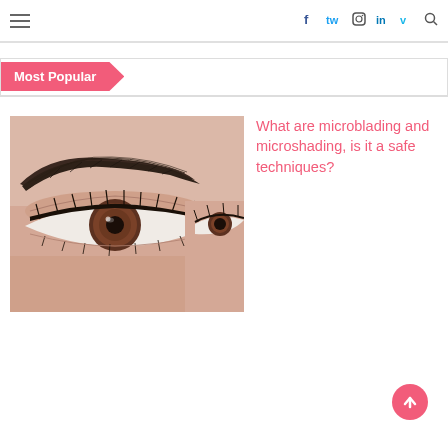Navigation bar with hamburger menu and social icons: Facebook, Twitter, Instagram, LinkedIn, Vimeo, Search
Most Popular
[Figure (photo): Close-up photo of a woman's eyes and eyebrows showing microbladed/microshaded eyebrows with thick, defined arches and winged eyeliner]
What are microblading and microshading, is it a safe techniques?